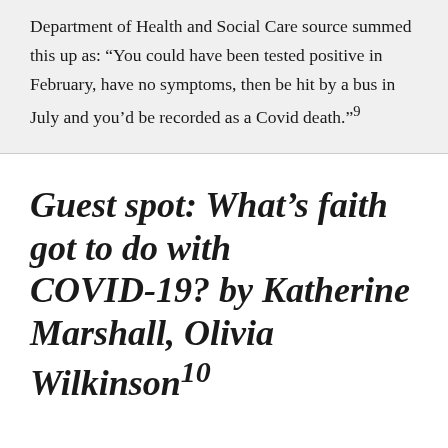Department of Health and Social Care source summed this up as: “You could have been tested positive in February, have no symptoms, then be hit by a bus in July and you’d be recorded as a Covid death.”⁹
Guest spot: What’s faith got to do with COVID‑19? by Katherine Marshall, Olivia Wilkinson¹⁰
In early March, three individuals, with the support of our organizations launched an effort to track how the world’s